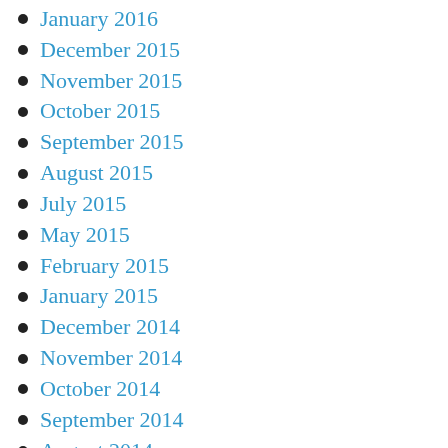January 2016
December 2015
November 2015
October 2015
September 2015
August 2015
July 2015
May 2015
February 2015
January 2015
December 2014
November 2014
October 2014
September 2014
August 2014
July 2014